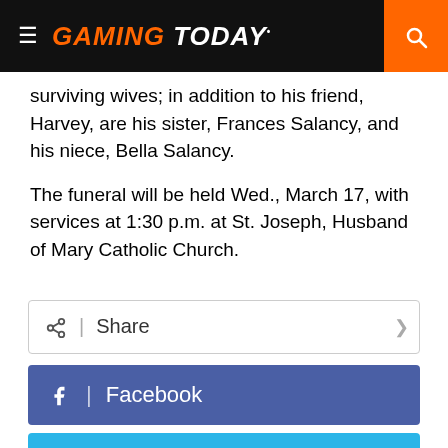GAMING TODAY
surviving wives; in addition to his friend, Harvey, are his sister, Frances Salancy, and his niece, Bella Salancy.
The funeral will be held Wed., March 17, with services at 1:30 p.m. at St. Joseph, Husband of Mary Catholic Church.
Share
Facebook
Twitter
Reddit
About the Author